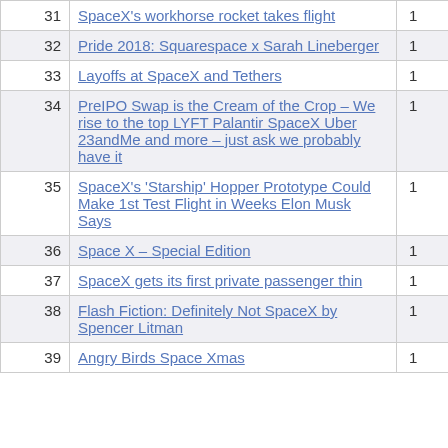| # | Title | Count |
| --- | --- | --- |
| 31 | SpaceX's workhorse rocket takes flight | 1 |
| 32 | Pride 2018: Squarespace x Sarah Lineberger | 1 |
| 33 | Layoffs at SpaceX and Tethers | 1 |
| 34 | PreIPO Swap is the Cream of the Crop – We rise to the top LYFT Palantir SpaceX Uber 23andMe and more – just ask we probably have it | 1 |
| 35 | SpaceX's 'Starship' Hopper Prototype Could Make 1st Test Flight in Weeks Elon Musk Says | 1 |
| 36 | Space X – Special Edition | 1 |
| 37 | SpaceX gets its first private passenger thin | 1 |
| 38 | Flash Fiction: Definitely Not SpaceX by Spencer Litman | 1 |
| 39 | Angry Birds Space Xmas | 1 |